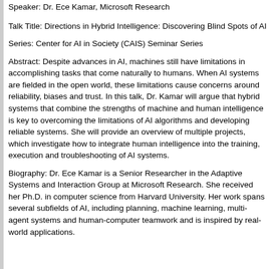Speaker: Dr. Ece Kamar, Microsoft Research
Talk Title: Directions in Hybrid Intelligence: Discovering Blind Spots of AI
Series: Center for AI in Society (CAIS) Seminar Series
Abstract: Despite advances in AI, machines still have limitations in accomplishing tasks that come naturally to humans. When AI systems are fielded in the open world, these limitations cause concerns around reliability, biases and trust. In this talk, Dr. Kamar will argue that hybrid systems that combine the strengths of machine and human intelligence is key to overcoming the limitations of AI algorithms and developing reliable systems. She will provide an overview of multiple projects, which investigate how to integrate human intelligence into the training, execution and troubleshooting of AI systems.
Biography: Dr. Ece Kamar is a Senior Researcher in the Adaptive Systems and Interaction Group at Microsoft Research. She received her Ph.D. in computer science from Harvard University. Her work spans several subfields of AI, including planning, machine learning, multi-agent systems and human-computer teamwork and is inspired by real-world applications.